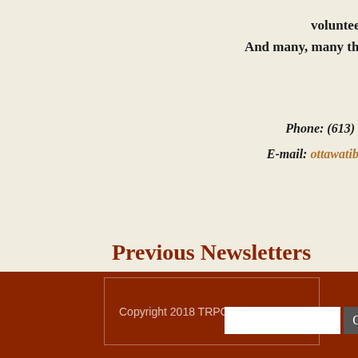volunteer
And many, many tha
Phone: (613) 7
E-mail: ottawatibe
Previous Newsletters
January 2014
March 2014
June 2014
September 2014
November 2014
Copyright 2018 TRPO.